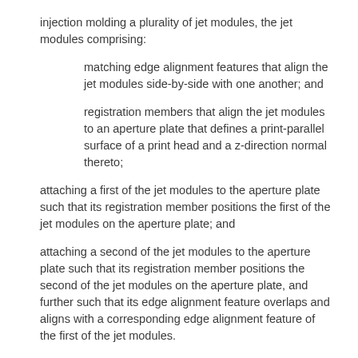injection molding a plurality of jet modules, the jet modules comprising:
matching edge alignment features that align the jet modules side-by-side with one another; and
registration members that align the jet modules to an aperture plate that defines a print-parallel surface of a print head and a z-direction normal thereto;
attaching a first of the jet modules to the aperture plate such that its registration member positions the first of the jet modules on the aperture plate; and
attaching a second of the jet modules to the aperture plate such that its registration member positions the second of the jet modules on the aperture plate, and further such that its edge alignment feature overlaps and aligns with a corresponding edge alignment feature of the first of the jet modules.
11. The method of claim 10, wherein the plurality of jet modules are duplicates of one another.